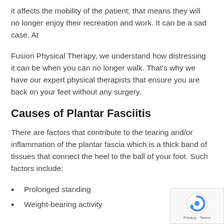it affects the mobility of the patient; that means they will no longer enjoy their recreation and work. It can be a sad case. At
Fusion Physical Therapy, we understand how distressing it can be when you can no longer walk. That's why we have our expert physical therapists that ensure you are back on your feet without any surgery.
Causes of Plantar Fasciitis
There are factors that contribute to the tearing and/or inflammation of the plantar fascia which is a thick band of tissues that connect the heel to the ball of your foot. Such factors include:
Prolonged standing
Weight-bearing activity